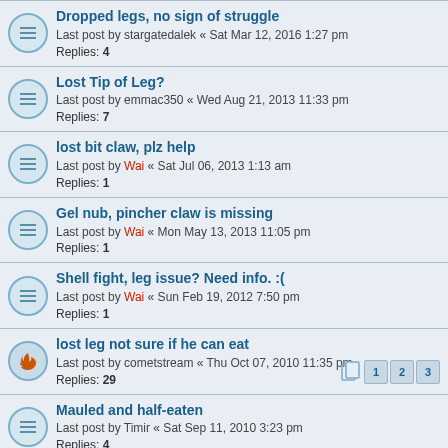Dropped legs, no sign of struggle
Last post by stargatedalek « Sat Mar 12, 2016 1:27 pm
Replies: 4
Lost Tip of Leg?
Last post by emmac350 « Wed Aug 21, 2013 11:33 pm
Replies: 7
lost bit claw, plz help
Last post by Wai « Sat Jul 06, 2013 1:13 am
Replies: 1
Gel nub, pincher claw is missing
Last post by Wai « Mon May 13, 2013 11:05 pm
Replies: 1
Shell fight, leg issue? Need info. :(
Last post by Wai « Sun Feb 19, 2012 7:50 pm
Replies: 1
lost leg not sure if he can eat
Last post by cometstream « Thu Oct 07, 2010 11:35 pm
Replies: 29
Mauled and half-eaten
Last post by Timir « Sat Sep 11, 2010 3:23 pm
Replies: 4
Is it possible for a hermie to grow back a leg after 1 molt?
Last post by Zombie(: « Sat Sep 11, 2010 8:07 am
Replies: 2
Can't find the dropped leg
Last post by ladybug15057 « Mon Aug 30, 2010 6:29 am
Replies: 2